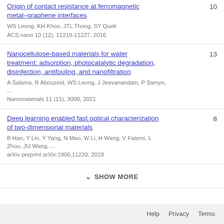Origin of contact resistance at ferromagnetic metal–graphene interfaces
WS Leong, KH Khoo, JTL Thong, SY Quek
ACS nano 10 (12), 11219-11227, 2016
[count: 10]
Nanocellulose-based materials for water treatment: adsorption, photocatalytic degradation, disinfection, antifouling, and nanofiltration
A Salama, R Abouzeid, WS Leong, J Jeevanandam, P Samyn, ...
Nanomaterials 11 (11), 3008, 2021
[count: 13]
Deep learning enabled fast optical characterization of two-dimensional materials
B Han, Y Lin, Y Yang, N Mao, W Li, H Wang, V Fatemi, L Zhou, JIJ Wang, ...
arXiv preprint arXiv:1906.11220, 2019
[count: 8]
SHOW MORE
Help   Privacy   Terms